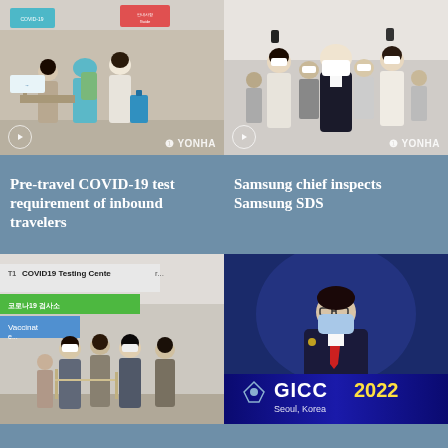[Figure (photo): People with luggage at airport COVID-19 testing/check-in area, YONHA watermark]
[Figure (photo): Crowd of people in masks holding phones up, Samsung chief inspection, YONHA watermark]
Pre-travel COVID-19 test requirement of inbound travelers
Samsung chief inspects Samsung SDS
[Figure (photo): COVID19 Testing Center T1 airport with people in line and Korean signage]
[Figure (photo): Man in suit and mask at podium, GICC 2022 Seoul Korea banner at bottom]